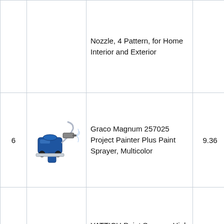| # | Image | Product Name | Score | Link |
| --- | --- | --- | --- | --- |
|  |  | Nozzle, 4 Pattern, for Home Interior and Exterior |  |  |
| 6 | [image] | Graco Magnum 257025 Project Painter Plus Paint Sprayer, Multicolor | 9.36 | Check Price |
| 7 | [image] | YATTICH Paint Sprayer, High Power HVLP Spray Gun, with 5 Copper Nozzles & 3 Patterns, Easy to Clean, for Furniture, Fence, Car, Bicycle, Chair etc. YT-191 | 9.4 | Check Price |